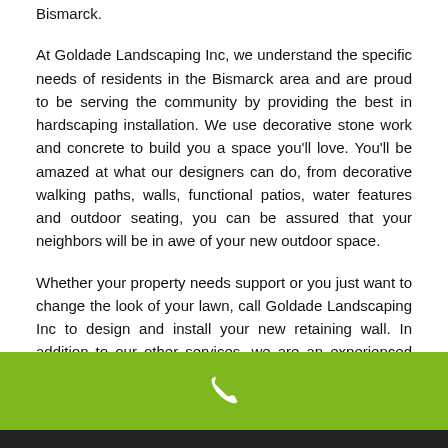Bismarck.
At Goldade Landscaping Inc, we understand the specific needs of residents in the Bismarck area and are proud to be serving the community by providing the best in hardscaping installation. We use decorative stone work and concrete to build you a space you'll love. You'll be amazed at what our designers can do, from decorative walking paths, walls, functional patios, water features and outdoor seating, you can be assured that your neighbors will be in awe of your new outdoor space.
Whether your property needs support or you just want to change the look of your lawn, call Goldade Landscaping Inc to design and install your new retaining wall. In addition to our other services, we are an experienced retaining wall contractor and can custom build a stone retaining wall to
[Figure (other): Green footer bar with white phone icon]